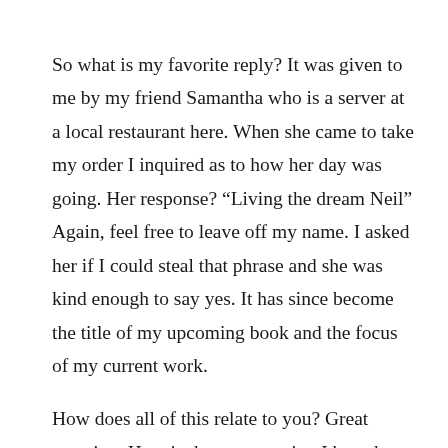So what is my favorite reply? It was given to me by my friend Samantha who is a server at a local restaurant here. When she came to take my order I inquired as to how her day was going. Her response? “Living the dream Neil” Again, feel free to leave off my name. I asked her if I could steal that phrase and she was kind enough to say yes. It has since become the title of my upcoming book and the focus of my current work.
How does all of this relate to you? Great question. Here is the one question I have been examining and that I would like you to ask yourself. What does “Living the dream” mean to you? How can you turn the life you have into the life you love? We are not talking about winning the lottery. What we are talking about is taking